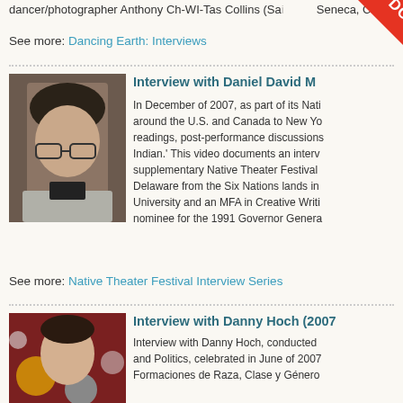dancer/photographer Anthony Ch-WI-Tas Collins (Sa... Seneca, C...
See more: Dancing Earth: Interviews
Interview with Daniel David M...
In December of 2007, as part of its Nati... around the U.S. and Canada to New Yo... readings, post-performance discussions... Indian.' This video documents an interv... supplementary Native Theater Festival ... Delaware from the Six Nations lands in... University and an MFA in Creative Writi... nominee for the 1991 Governor Genera...
See more: Native Theater Festival Interview Series
Interview with Danny Hoch (2007...
Interview with Danny Hoch, conducted ... and Politics, celebrated in June of 2007... Formaciones de Raza, Clase y Género...